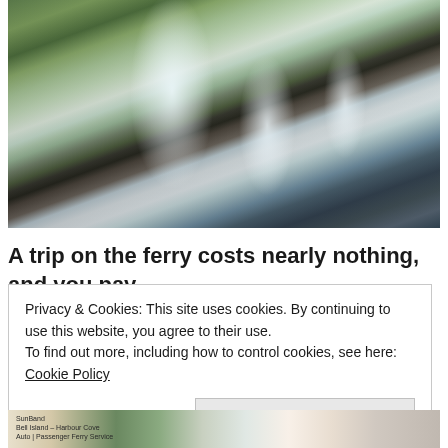[Figure (photo): A waterfall cascading over dark rocky terrain with green moss and vegetation, multiple streams of white water visible]
A trip on the ferry costs nearly nothing, and you pay
Privacy & Cookies: This site uses cookies. By continuing to use this website, you agree to their use.
To find out more, including how to control cookies, see here: Cookie Policy
Close and accept
[Figure (photo): Bottom strip showing partial images including what appears to be a SunBand ferry pass and other travel-related materials]